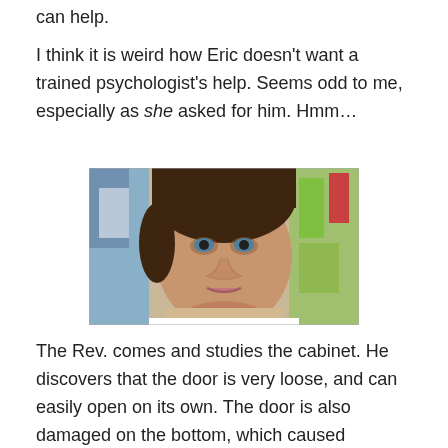can help.
I think it is weird how Eric doesn't want a trained psychologist's help. Seems odd to me, especially as she asked for him. Hmm…
[Figure (photo): A man with brown hair looking sideways with a skeptical or puzzled expression, photographed in what appears to be a store with colorful products on shelves in the background.]
The Rev. comes and studies the cabinet. He discovers that the door is very loose, and can easily open on its own. The door is also damaged on the bottom, which caused…